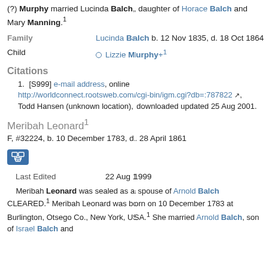(?) Murphy married Lucinda Balch, daughter of Horace Balch and Mary Manning.1
| Family | Child |
| --- | --- |
| Family | Lucinda Balch b. 12 Nov 1835, d. 18 Oct 1864 |
| Child | Lizzie Murphy+1 |
Citations
[S999] e-mail address, online http://worldconnect.rootsweb.com/cgi-bin/igm.cgi?db=:787822, Todd Hansen (unknown location), downloaded updated 25 Aug 2001.
Meribah Leonard1
F, #32224, b. 10 December 1783, d. 28 April 1861
| Last Edited |
| --- |
| Last Edited | 22 Aug 1999 |
Meribah Leonard was sealed as a spouse of Arnold Balch CLEARED.1 Meribah Leonard was born on 10 December 1783 at Burlington, Otsego Co., New York, USA.1 She married Arnold Balch, son of Israel Balch and